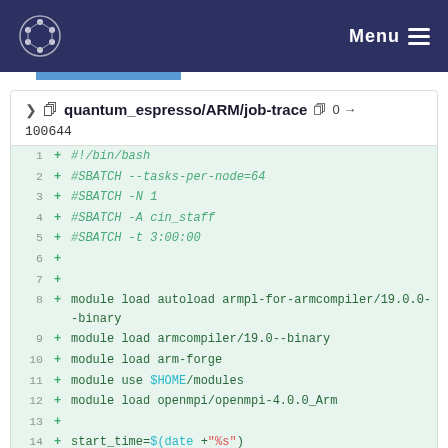Menu
quantum_espresso/ARM/job-trace  0 → 100644
[Figure (screenshot): Code diff view showing a shell script (job-trace) with line numbers 1-14, each line prefixed with '+' indicating additions. Lines include bash shebang, SBATCH directives, module load commands, and start_time assignment.]